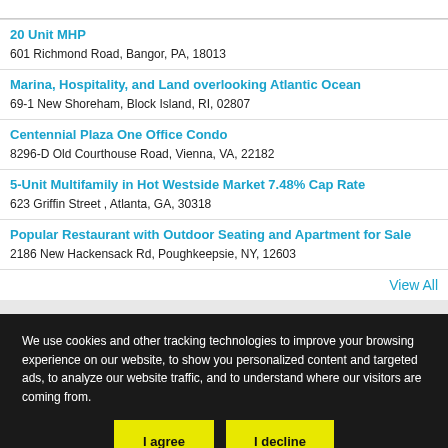...y ...p...
20 Unit MHP
601 Richmond Road, Bangor, PA, 18013
Marina, Hospitality, and Land overlooking Atlantic Ocean
69-1 New Shoreham, Block Island, RI, 02807
Centennial Plaza One Office Condo
8296-D Old Courthouse Road, Vienna, VA, 22182
5-Unit Multifamily in Hot Westside Market 7.48% Cap Rate
623 Griffin Street , Atlanta, GA, 30318
Popular Restaurant with Outdoor Seating and Apartment for Sale
2186 New Hackensack Rd, Poughkeepsie, NY, 12603
View All
We use cookies and other tracking technologies to improve your browsing experience on our website, to show you personalized content and targeted ads, to analyze our website traffic, and to understand where our visitors are coming from.
I agree  I decline